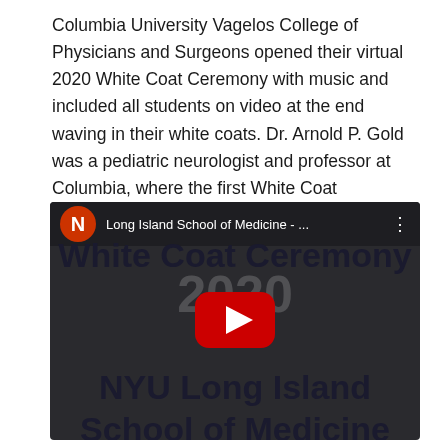Columbia University Vagelos College of Physicians and Surgeons opened their virtual 2020 White Coat Ceremony with music and included all students on video at the end waving in their white coats. Dr. Arnold P. Gold was a pediatric neurologist and professor at Columbia, where the first White Coat Ceremony, emphasize the critical importance of humanism in healthcare, was held in 1993.
[Figure (screenshot): YouTube video thumbnail for '2020 White Coat Ceremony - NYU Long Island School of Medicine'. Shows dark background with channel icon (N), video title in top bar reading 'Long Island School of Medicine - ...', the year '2020' faintly in background, bold text 'White Coat Ceremony', a YouTube play button, and 'NYU Long Island School of Medicine' in bold text.]